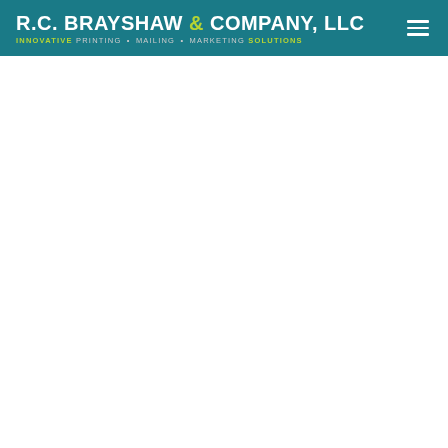R.C. BRAYSHAW & COMPANY, LLC — INNOVATIVE PRINTING • MAILING • MARKETING SOLUTIONS